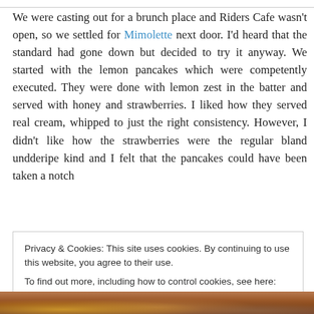We were casting out for a brunch place and Riders Cafe wasn't open, so we settled for Mimolette next door. I'd heard that the standard had gone down but decided to try it anyway. We started with the lemon pancakes which were competently executed. They were done with lemon zest in the batter and served with honey and strawberries. I liked how they served real cream, whipped to just the right consistency. However, I didn't like how the strawberries were the regular bland undderipe kind and I felt that the pancakes could have been taken a notch
Privacy & Cookies: This site uses cookies. By continuing to use this website, you agree to their use.
To find out more, including how to control cookies, see here: Cookie Policy
[Figure (photo): Partial view of food photo at bottom of page, showing brown/orange tones]